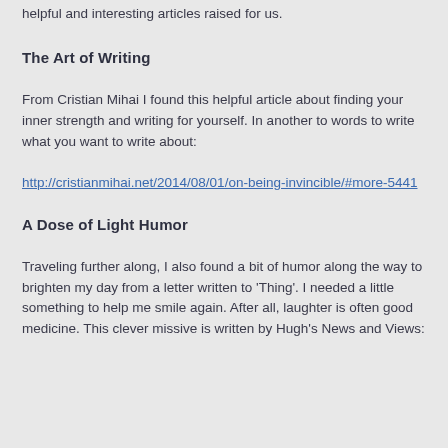helpful and interesting articles raised for us.
The Art of Writing
From Cristian Mihai I found this helpful article about finding your inner strength and writing for yourself. In another to words to write what you want to write about:
http://cristianmihai.net/2014/08/01/on-being-invincible/#more-5441
A Dose of Light Humor
Traveling further along, I also found a bit of humor along the way to brighten my day from a letter written to 'Thing'. I needed a little something to help me smile again. After all, laughter is often good medicine. This clever missive is written by Hugh's News and Views: